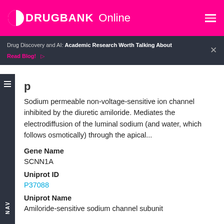DRUGBANK Online
Drug Discovery and AI: Academic Research Worth Talking About
Read Blog!
p
Sodium permeable non-voltage-sensitive ion channel inhibited by the diuretic amiloride. Mediates the electrodiffusion of the luminal sodium (and water, which follows osmotically) through the apical...
Gene Name
SCNN1A
Uniprot ID
P37088
Uniprot Name
Amiloride-sensitive sodium channel subunit alpha